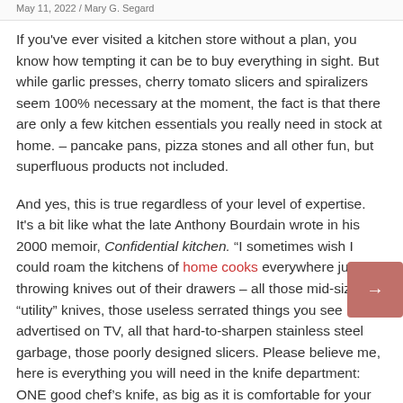May 11, 2022 / Mary G. Segard
If you've ever visited a kitchen store without a plan, you know how tempting it can be to buy everything in sight. But while garlic presses, cherry tomato slicers and spiralizers seem 100% necessary at the moment, the fact is that there are only a few kitchen essentials you really need in stock at home. – pancake pans, pizza stones and all other fun, but superfluous products not included.
And yes, this is true regardless of your level of expertise. It's a bit like what the late Anthony Bourdain wrote in his 2000 memoir, Confidential kitchen. "I sometimes wish I could roam the kitchens of home cooks everywhere just throwing knives out of their drawers – all those mid-sized "utility" knives, those useless serrated things you see advertised on TV, all that hard-to-sharpen stainless steel garbage, those poorly designed slicers. Please believe me, here is everything you will need in the knife department: ONE good chef's knife, as big as it is comfortable for your hand," he said in the book. Yes, Bourdain was talking about knives in particular, but the same goes for many other tools. In reality, most of these